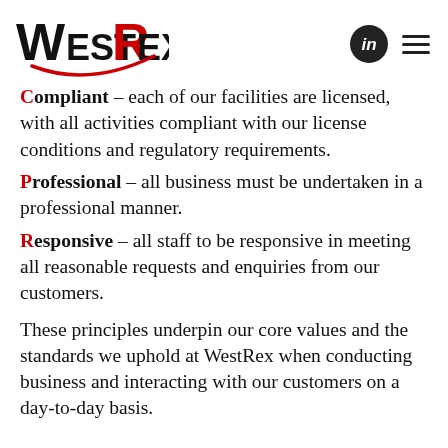WestRex logo with LinkedIn and menu icons
Compliant – each of our facilities are licensed, with all activities compliant with our license conditions and regulatory requirements.
Professional – all business must be undertaken in a professional manner.
Responsive – all staff to be responsive in meeting all reasonable requests and enquiries from our customers.
These principles underpin our core values and the standards we uphold at WestRex when conducting business and interacting with our customers on a day-to-day basis.